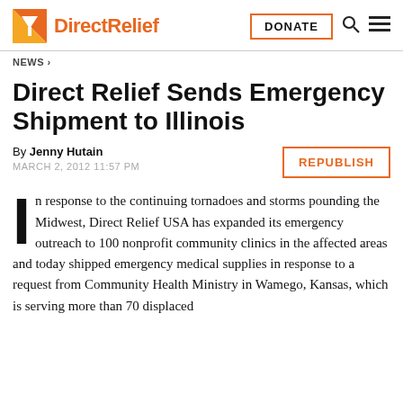Direct Relief | DONATE
NEWS >
Direct Relief Sends Emergency Shipment to Illinois
By Jenny Hutain
MARCH 2, 2012 11:57 PM
REPUBLISH
In response to the continuing tornadoes and storms pounding the Midwest, Direct Relief USA has expanded its emergency outreach to 100 nonprofit community clinics in the affected areas and today shipped emergency medical supplies in response to a request from Community Health Ministry in Wamego, Kansas, which is serving more than 70 displaced